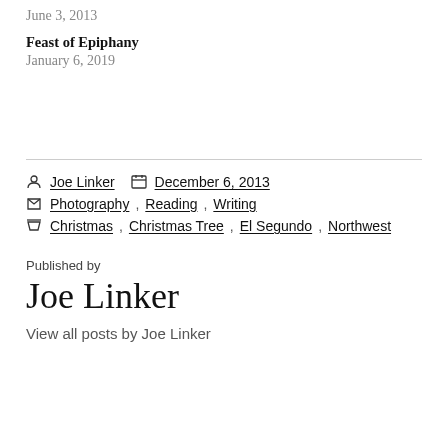June 3, 2013
Feast of Epiphany
January 6, 2019
Joe Linker  December 6, 2013
Photography, Reading, Writing
Christmas, Christmas Tree, El Segundo, Northwest
Published by
Joe Linker
View all posts by Joe Linker